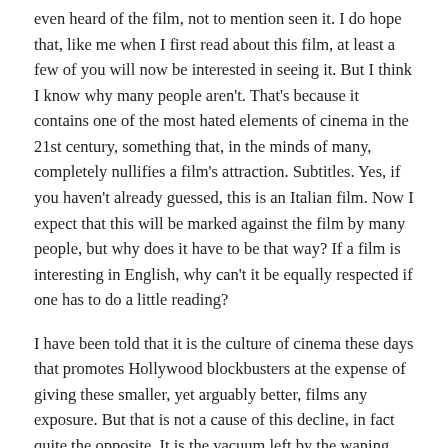even heard of the film, not to mention seen it. I do hope that, like me when I first read about this film, at least a few of you will now be interested in seeing it. But I think I know why many people aren't. That's because it contains one of the most hated elements of cinema in the 21st century, something that, in the minds of many, completely nullifies a film's attraction. Subtitles. Yes, if you haven't already guessed, this is an Italian film. Now I expect that this will be marked against the film by many people, but why does it have to be that way? If a film is interesting in English, why can't it be equally respected if one has to do a little reading?
I have been told that it is the culture of cinema these days that promotes Hollywood blockbusters at the expense of giving these smaller, yet arguably better, films any exposure. But that is not a cause of this decline, in fact quite the opposite. It is the vacuum left by the waning interest in international cinema that has led to Hollywood escapism swelling to the behemoth it has now become. Were more people to discover the legitimacy of foreign language films as both entertainment and art, it is only natural that the industry would respond in kind.
I have also heard that reading subtitles causes the audience to stare at the bottom quarter of the screen for the entire film, missing any action on screen and taking them out of the drama. But who are these people who read at